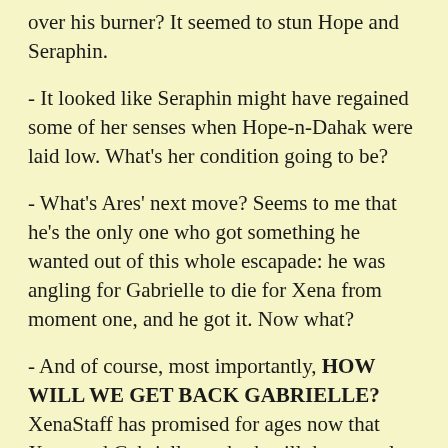over his burner? It seemed to stun Hope and Seraphin.
- It looked like Seraphin might have regained some of her senses when Hope-n-Dahak were laid low. What's her condition going to be?
- What's Ares' next move? Seems to me that he's the only one who got something he wanted out of this whole escapade: he was angling for Gabrielle to die for Xena from moment one, and he got it. Now what?
- And of course, most importantly, HOW WILL WE GET BACK GABRIELLE? XenaStaff has promised for ages now that Xena and Gabrielle are both still the central focus of the show, there's no sign of